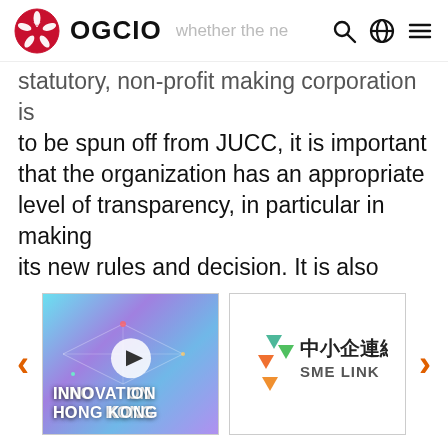OGCIO  whether the new [search] [globe] [menu]
statutory, non-profit making corporation is to be spun off from JUCC, it is important that the organization has an appropriate level of transparency, in particular in making its new rules and decision. It is also desirable if an appeal mechanism can be established for check-and-balance.
[Figure (screenshot): Carousel showing two cards: 1) Innovation Hong Kong video thumbnail with play button, 2) SME Link logo card with Chinese text 中小企連線 and English text SME LINK. Navigation arrows on left and right.]